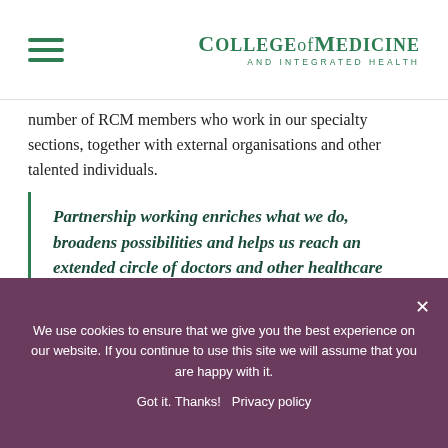College of Medicine and Integrated Health
number of RCM members who work in our specialty sections, together with external organisations and other talented individuals.
Partnership working enriches what we do, broadens possibilities and helps us reach an extended circle of doctors and other healthcare professionals, maximising our impact as a charity.
We use cookies to ensure that we give you the best experience on our website. If you continue to use this site we will assume that you are happy with it. Got it. Thanks! Privacy policy